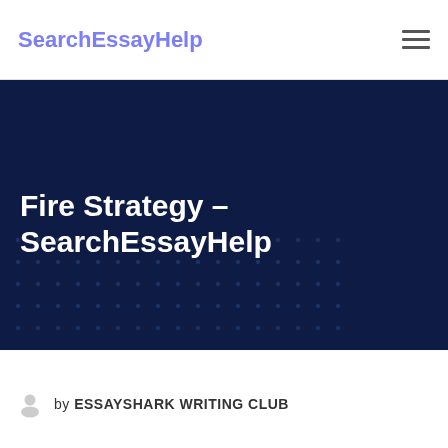SearchEssayHelp
Fire Strategy - SearchEssayHelp
[Figure (screenshot): Dark navy hero banner with white bold title 'Fire Strategy - SearchEssayHelp' and a decorative dot pattern in the lower portion]
by ESSAYSHARK WRITING CLUB